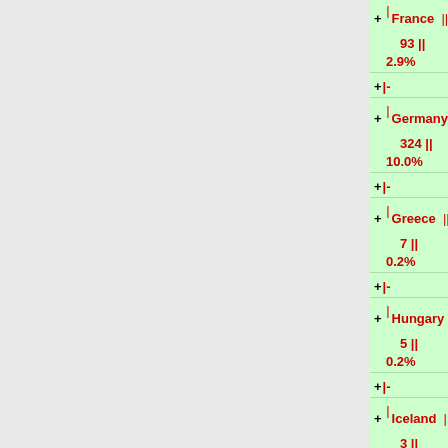| Country | Count | Percentage |
| --- | --- | --- |
| France | 93 | 2.9% |
| Germany | 324 | 10.0% |
| Greece | 7 | 0.2% |
| Hungary | 5 | 0.2% |
| Iceland | 3 | 0.1% |
| India | 37 | 1.1% |
| Indonesia | 1 | 0.0% |